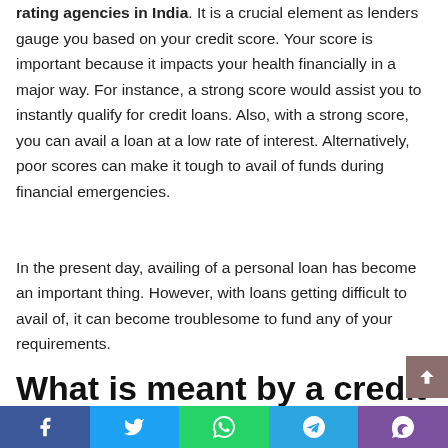rating agencies in India. It is a crucial element as lenders gauge you based on your credit score. Your score is important because it impacts your health financially in a major way. For instance, a strong score would assist you to instantly qualify for credit loans. Also, with a strong score, you can avail a loan at a low rate of interest. Alternatively, poor scores can make it tough to avail of funds during financial emergencies.
In the present day, availing of a personal loan has become an important thing. However, with loans getting difficult to avail of, it can become troublesome to fund any of your requirements.
What is meant by a credit score?
Facebook Twitter WhatsApp Telegram Viber